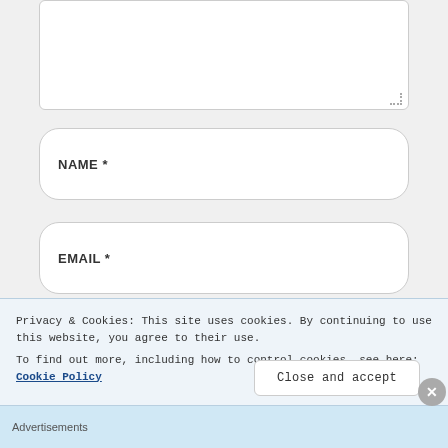[Figure (screenshot): Textarea input box with resize handle, partially shown at top of page]
NAME *
EMAIL *
WEBSITE
Privacy & Cookies: This site uses cookies. By continuing to use this website, you agree to their use.
To find out more, including how to control cookies, see here: Cookie Policy
Close and accept
Advertisements